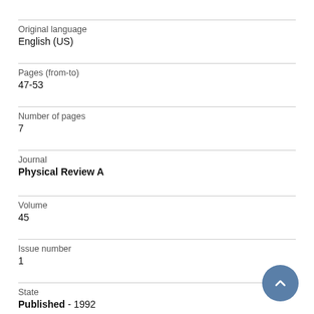Original language
English (US)
Pages (from-to)
47-53
Number of pages
7
Journal
Physical Review A
Volume
45
Issue number
1
State
Published - 1992